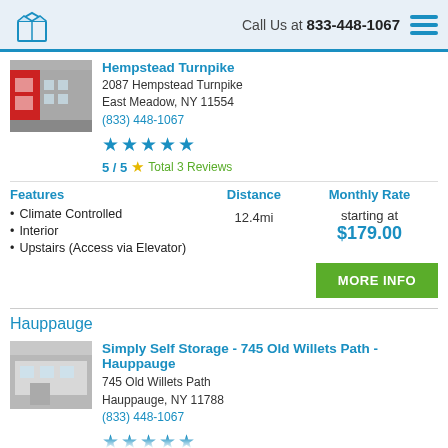Call Us at 833-448-1067
Hempstead Turnpike
2087 Hempstead Turnpike
East Meadow, NY 11554
(833) 448-1067
5 / 5 Total 3 Reviews
Features
Climate Controlled
Interior
Upstairs (Access via Elevator)
Distance
12.4mi
Monthly Rate
starting at $179.00
MORE INFO
Hauppauge
Simply Self Storage - 745 Old Willets Path - Hauppauge
745 Old Willets Path
Hauppauge, NY 11788
(833) 448-1067
5 / 5 Total 0+ Reviews